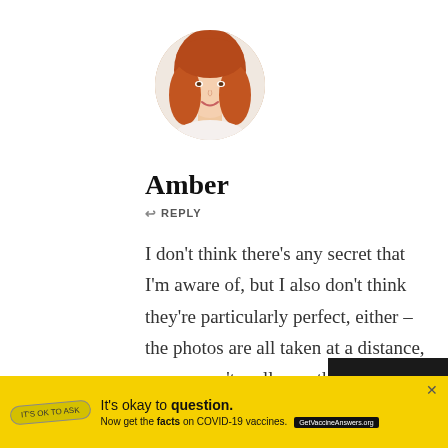[Figure (photo): Circular avatar photo of a woman with long red/auburn hair, smiling, against a light background.]
Amber
↩  REPLY
I don't think there's any secret that I'm aware of, but I also don't think they're particularly perfect, either – the photos are all taken at a distance, so you can't really see them in much detail! Terry is fairly good at repairing them,
[Figure (infographic): Yellow advertisement banner: 'It's okay to question. Now get the facts on COVID-19 vaccines. GetVaccineAnswers.org' with a pill-shaped badge and close button. Dark overlay section in bottom right corner.]